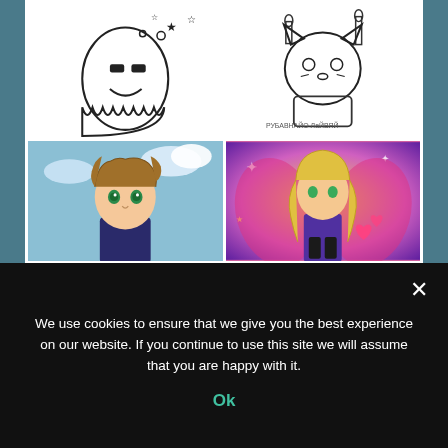[Figure (illustration): Grid of 6 anime/manga images: row1: ghost character coloring page, cat birthday coloring page; row2: anime boy with green eyes screenshot, anime girl with blonde hair colorful art; row3: anime boy dark screenshot, manga coloring page with fairy characters. Partial 7th image at bottom.]
We use cookies to ensure that we give you the best experience on our website. If you continue to use this site we will assume that you are happy with it.
Ok